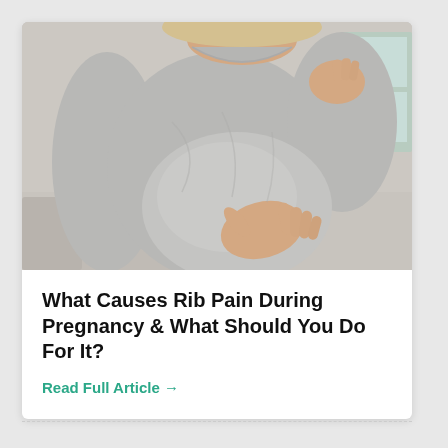[Figure (photo): Pregnant woman in a grey long-sleeve top holding her rib/abdomen area with one hand and touching her head with the other, appearing to be in pain.]
What Causes Rib Pain During Pregnancy & What Should You Do For It?
Read Full Article →